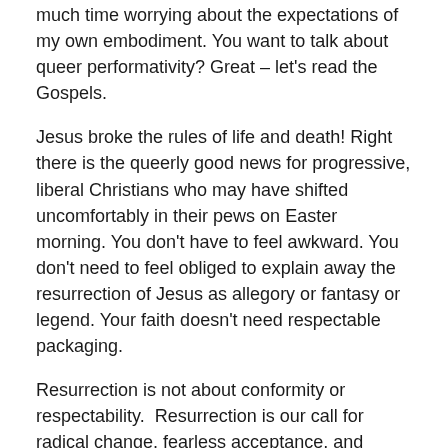much time worrying about the expectations of my own embodiment. You want to talk about queer performativity? Great – let's read the Gospels.
Jesus broke the rules of life and death! Right there is the queerly good news for progressive, liberal Christians who may have shifted uncomfortably in their pews on Easter morning. You don't have to feel awkward. You don't need to feel obliged to explain away the resurrection of Jesus as allegory or fantasy or legend. Your faith doesn't need respectable packaging.
Resurrection is not about conformity or respectability. Resurrection is our call for radical change, fearless acceptance, and queer love. It's a call for TRANSformation!
Let us proclaim the Easter announcement with a queer